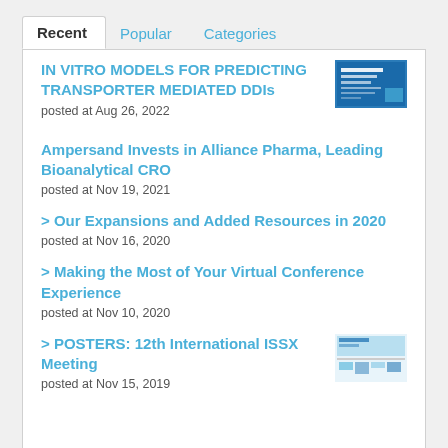Recent | Popular | Categories
IN VITRO MODELS FOR PREDICTING TRANSPORTER MEDIATED DDIs
posted at Aug 26, 2022
Ampersand Invests in Alliance Pharma, Leading Bioanalytical CRO
posted at Nov 19, 2021
> Our Expansions and Added Resources in 2020
posted at Nov 16, 2020
> Making the Most of Your Virtual Conference Experience
posted at Nov 10, 2020
> POSTERS: 12th International ISSX Meeting
posted at Nov 15, 2019